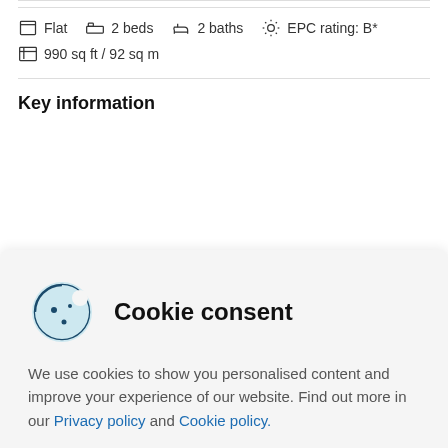Flat   2 beds   2 baths   EPC rating: B*
990 sq ft / 92 sq m
Key information
Cookie consent
We use cookies to show you personalised content and improve your experience of our website. Find out more in our Privacy policy and Cookie policy.
Accept all
Manage options